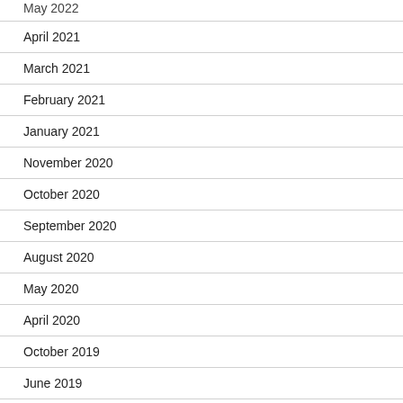May 2022 (partial, top cut off)
April 2021
March 2021
February 2021
January 2021
November 2020
October 2020
September 2020
August 2020
May 2020
April 2020
October 2019
June 2019
February 2019